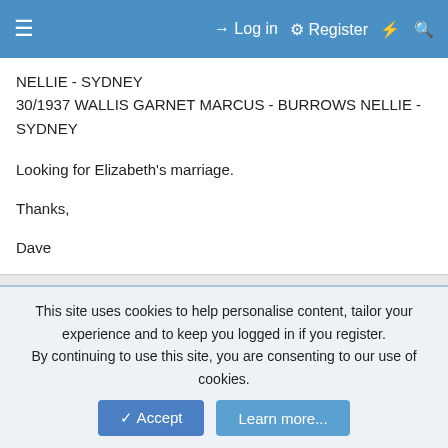Log in  Register
NELLIE - SYDNEY
30/1937 WALLIS GARNET MARCUS - BURROWS NELLIE - SYDNEY

Looking for Elizabeth's marriage.

Thanks,

Dave
gibbo
Loyal Member
24 June 2015   #2
This site uses cookies to help personalise content, tailor your experience and to keep you logged in if you register. By continuing to use this site, you are consenting to our use of cookies.